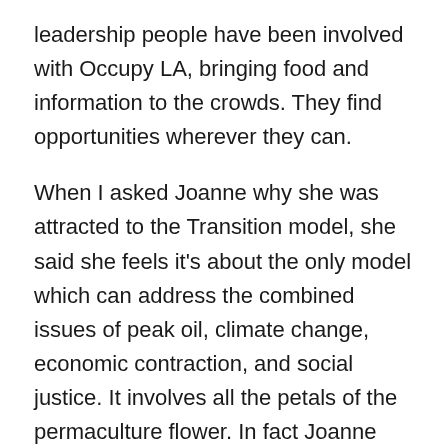leadership people have been involved with Occupy LA, bringing food and information to the crowds. They find opportunities wherever they can.
When I asked Joanne why she was attracted to the Transition model, she said she feels it's about the only model which can address the combined issues of peak oil, climate change, economic contraction, and social justice. It involves all the petals of the permaculture flower. In fact Joanne published a novel, Legacy, about using permaculture as an inspiration for humans to transition from an oil-based culture to one without oil, and just before publication she found Rob Hopkins work, and realized that all the way across the planet someone else came to the very same conclusions! She also said that she can't imagine doing anything else with her life.